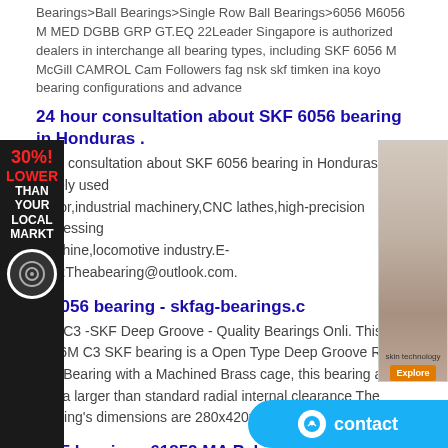Bearings>Ball Bearings>Single Row Ball Bearings>6056 M6056 M MED DGBB GRP GT.EQ 22Leader Singapore is authorized dealers in interchange all bearing types, including SKF 6056 M McGill CAMROL Cam Followers fag nsk skf timken ina koyo bearing configurations and advance
24 hour consultation about SKF 6056 bearing in Honduras .
hour consultation about SKF 6056 bearing in Honduras are widely used motor,industrial machinery,CNC lathes,high-precision processing machine,locomotive industry.E-mail:Theabearing@outlook.com.
F 6056 bearing - skfag-bearings.c
6 M/C3 -SKF Deep Groove - Quality Bearings Onli. This 6056M C3 SKF bearing is a Open Type Deep Groove Radial Ball Bearing with a Machined Brass cage, this bearing also has a larger than standard radial internal clearance The bearing's dimensions are 280x420x65.
SKF bearings 61852 MA Pakistan – SKFbearing|NSKbearing .
The above SKF ball bearings are mainly used in the machine tool, metallurgy, automobile, oil, electric power, mining, machinery manufacturing industry. We have established close business cooperation with worldwide customers, welcome to order from us.
Skf 6056m Deep Groove Ball Bearings 6056 M
Skf 6056m Deep Groove Ball Bearings 6056 M Bearing Size 280x420x65